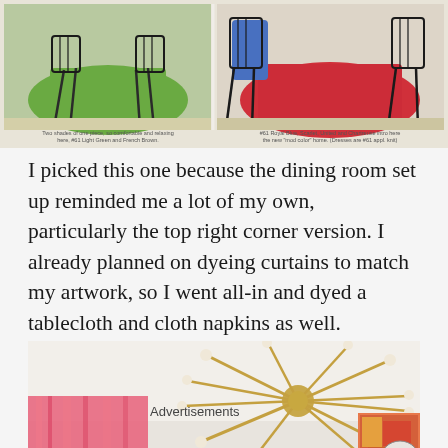[Figure (photo): Two vintage-style photos of outdoor dining sets with wrought iron chairs and colorful tablecloths. Left: green tablecloth setting, comfortable and relaxing. Right: pink/red tablecloth with blue draped over chair in 'mod color' scene.]
Two shades of one piece, so comfortable and relaxing here, #61 Light Green and French Brown. / #61 Royal Blue, Scarlet, United and Chartreuse intro here this new 'mod color' home. (Dresses are #61 appl. knit)
I picked this one because the dining room set up reminded me a lot of my own, particularly the top right corner version. I already planned on dyeing curtains to match my artwork, so I went all-in and dyed a tablecloth and cloth napkins as well.
[Figure (photo): Interior room photo showing a gold sputnik-style chandelier on white ceiling, pink dyed curtains on left, and colorful artwork partially visible on right side.]
Advertisements